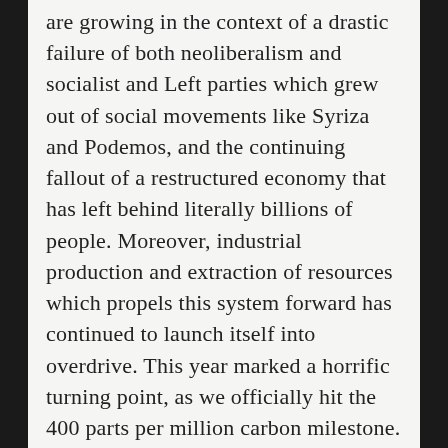are growing in the context of a drastic failure of both neoliberalism and socialist and Left parties which grew out of social movements like Syriza and Podemos, and the continuing fallout of a restructured economy that has left behind literally billions of people. Moreover, industrial production and extraction of resources which propels this system forward has continued to launch itself into overdrive. This year marked a horrific turning point, as we officially hit the 400 parts per million carbon milestone. Now, many scientists and even government institutions are predicting drastic climate change in our lifetimes as unavoidable and weather patterns are currently already changing rapidly. Revolution, in the sense that everything will